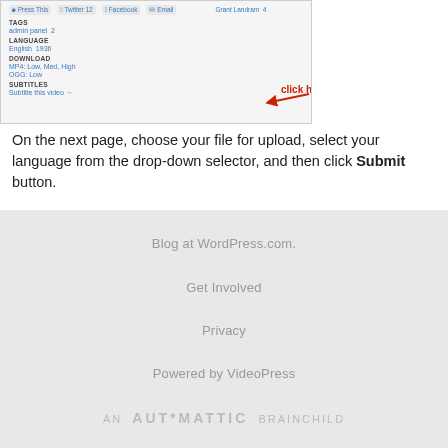[Figure (screenshot): Screenshot of a video page interface showing toolbar buttons (Press This, Twitter 12, Facebook, Email), metadata fields (TAGS: admin panel 2, LANGUAGE: English 1936, DOWNLOAD: MP4: Low Med High / OGG: Low, SUBTITLES: Subtitle this video →) with a red arrow pointing to SUBTITLES section and 'click here' text in red]
On the next page, choose your file for upload, select your language from the drop-down selector, and then click Submit button.
Blog at WordPress.com.
Get Involved
Privacy
Powered by VideoPress
AN AUTOMATTIC BRAINCHILD